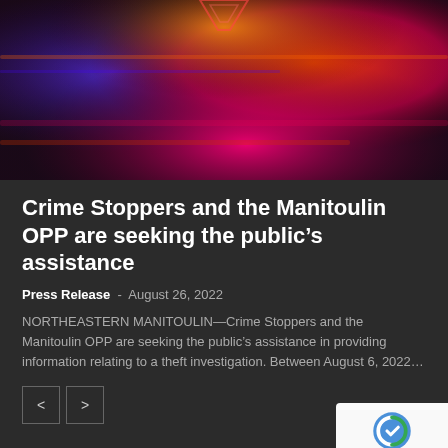[Figure (photo): Police car emergency lights (red, blue, and pink/magenta) glowing at night — hero image for news article]
Crime Stoppers and the Manitoulin OPP are seeking the public's assistance
Press Release  -  August 26, 2022
NORTHEASTERN MANITOULIN—Crime Stoppers and the Manitoulin OPP are seeking the public's assistance in providing information relating to a theft investigation. Between August 6, 2022…
POPULAR CATEGORIES